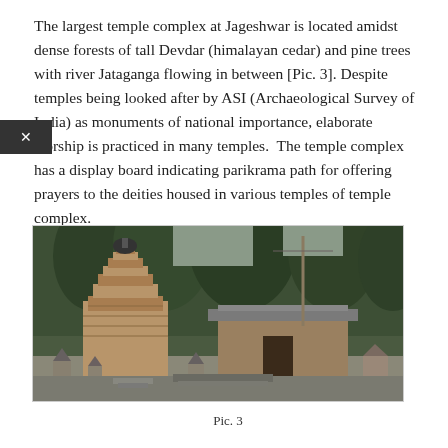The largest temple complex at Jageshwar is located amidst dense forests of tall Devdar (himalayan cedar) and pine trees with river Jataganga flowing in between [Pic. 3]. Despite temples being looked after by ASI (Archaeological Survey of India) as monuments of national importance, elaborate worship is practiced in many temples.  The temple complex has a display board indicating parikrama path for offering prayers to the deities housed in various temples of temple complex.
[Figure (photo): Photograph of the Jageshwar temple complex showing ancient stone temples with shikhara towers amidst dense forest background. Multiple temple structures of varying sizes are visible with stone carvings and small shrines in the foreground.]
Pic. 3